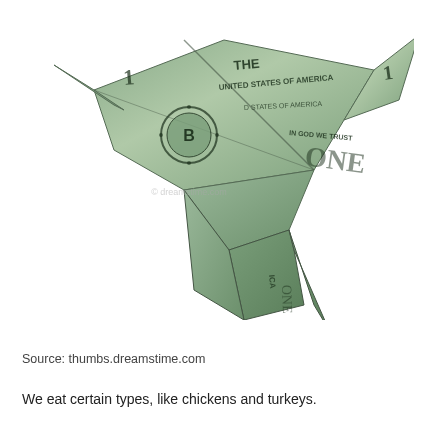[Figure (photo): An origami bird (dove/hummingbird in flight pose) folded from a US one-dollar bill. The bill's green and grey design, including text 'THE UNITED STATES OF AMERICA', 'IN GOD WE TRUST', 'ONE', and Federal Reserve seal with letter B, is visible across the folded wings, body, and tail of the bird. A watermark from dreamstime.com is faintly visible on the image.]
Source: thumbs.dreamstime.com
We eat certain types, like chickens and turkeys.